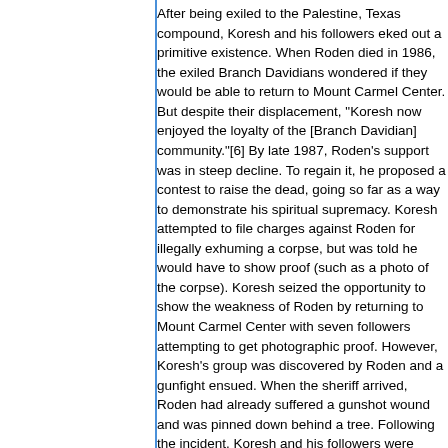After being exiled to the Palestine, Texas compound, Koresh and his followers eked out a primitive existence. When Roden died in 1986, the exiled Branch Davidians wondered if they would be able to return to Mount Carmel Center. But despite their displacement, "Koresh now enjoyed the loyalty of the [Branch Davidian] community."[6] By late 1987, Roden's support was in steep decline. To regain it, Roden proposed a contest to raise the dead, going so far as a way to demonstrate his spiritual supremacy. Koresh attempted to file charges against Roden for illegally exhuming a corpse, but was told he would have to show proof (such as a photo of the corpse). Koresh seized the opportunity to show the weakness of Roden by returning to Mount Carmel Center with seven followers attempting to get photographic proof. However, Koresh's group was discovered by Roden and a gunfight ensued. When the sheriff arrived, Roden had already suffered a gunshot wound and was pinned down behind a tree. Following the incident, Koresh and his followers were charged with attempted murder. At the trial, Koresh explained that he had gone to Mount Carmel Center to uncover evidence of criminal disturbances by Roden. Koresh's followers were acquitted, but for Koresh a mistrial was declared.